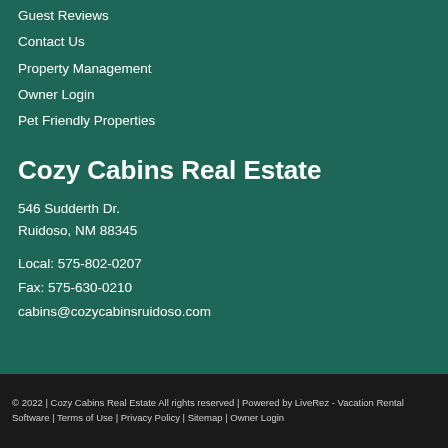Guest Reviews
Contact Us
Property Management
Owner Login
Pet Friendly Properties
Cozy Cabins Real Estate
546 Sudderth Dr.
Ruidoso, NM 88345
Local: 575-802-0207
Fax: 575-630-0210
cabins@cozycabinsruidoso.com
© 2022 | Cozy Cabins Real Estate All rights reserved | Powered by LiveRez - Vacation Rental Software | Terms of Use | Privacy Policy | Sitemap | Owner Login